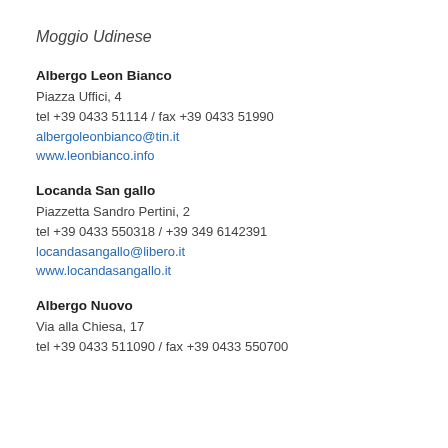Moggio Udinese
Albergo Leon Bianco
Piazza Uffici, 4
tel +39 0433 51114 / fax +39 0433 51990
albergoleonbianco@tin.it
www.leonbianco.info
Locanda San gallo
Piazzetta Sandro Pertini, 2
tel +39 0433 550318 / +39 349 6142391
locandasangallo@libero.it
www.locandasangallo.it
Albergo Nuovo
Via alla Chiesa, 17
tel +39 0433 511090 / fax +39 0433 550700